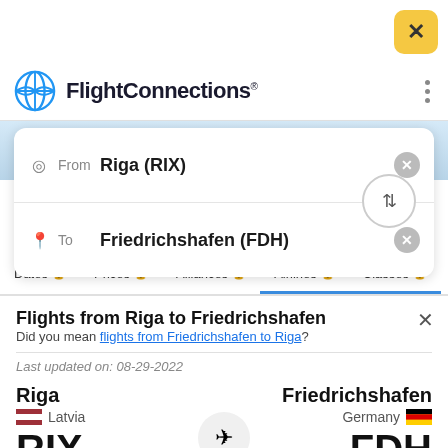[Figure (screenshot): FlightConnections app screenshot showing flight search from Riga (RIX) to Friedrichshafen (FDH)]
From  Riga (RIX)
To  Friedrichshafen (FDH)
Dates  Prices  Alliances  Airlines  Classes
Flights from Riga to Friedrichshafen
Did you mean flights from Friedrichshafen to Riga?
Last updated on: 08-29-2022
Riga
Latvia
RIX
Friedrichshafen
Germany
FDH